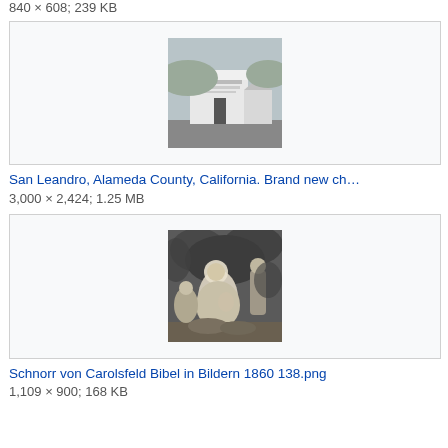840 × 608; 239 KB
[Figure (photo): Black and white photograph of a building labeled 'House of Sharon Tabernacle' in San Leandro, Alameda County, California. Brand new church exterior with white walls and a small house adjacent.]
San Leandro, Alameda County, California. Brand new ch…
3,000 × 2,424; 1.25 MB
[Figure (photo): Black and white biblical illustration by Schnorr von Carolsfeld from Bibel in Bildern 1860, page 138, depicting a seated female figure with others around her in a garden setting.]
Schnorr von Carolsfeld Bibel in Bildern 1860 138.png
1,109 × 900; 168 KB